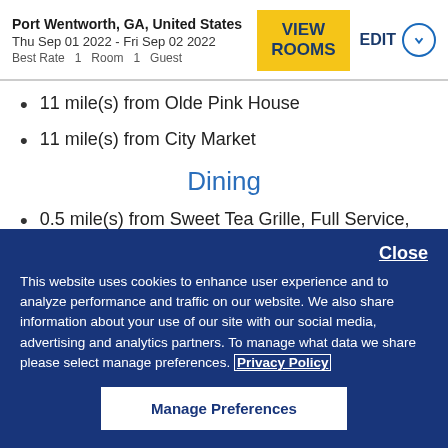Port Wentworth, GA, United States
Thu Sep 01 2022 - Fri Sep 02 2022
Best Rate  1  Room  1  Guest
11 mile(s) from Olde Pink House
11 mile(s) from City Market
Dining
0.5 mile(s) from Sweet Tea Grille, Full Service, American, Open for: lunch, dinner.
Close
This website uses cookies to enhance user experience and to analyze performance and traffic on our website. We also share information about your use of our site with our social media, advertising and analytics partners. To manage what data we share please select manage preferences. Privacy Policy
Manage Preferences